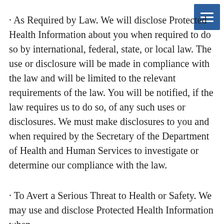[Figure (other): Navigation menu button (hamburger icon) in dark blue, top right corner]
· As Required by Law. We will disclose Protected Health Information about you when required to do so by international, federal, state, or local law. The use or disclosure will be made in compliance with the law and will be limited to the relevant requirements of the law. You will be notified, if the law requires us to do so, of any such uses or disclosures. We must make disclosures to you and when required by the Secretary of the Department of Health and Human Services to investigate or determine our compliance with the law.
· To Avert a Serious Threat to Health or Safety. We may use and disclose Protected Health Information when